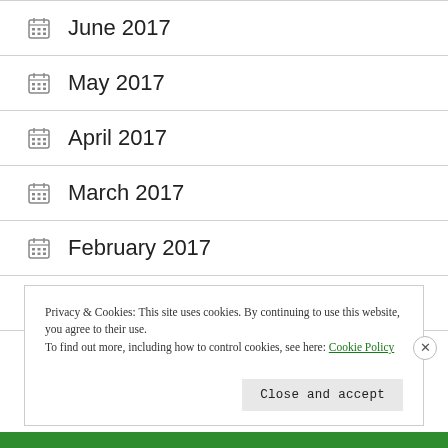June 2017
May 2017
April 2017
March 2017
February 2017
January 2017
Privacy & Cookies: This site uses cookies. By continuing to use this website, you agree to their use. To find out more, including how to control cookies, see here: Cookie Policy
Close and accept